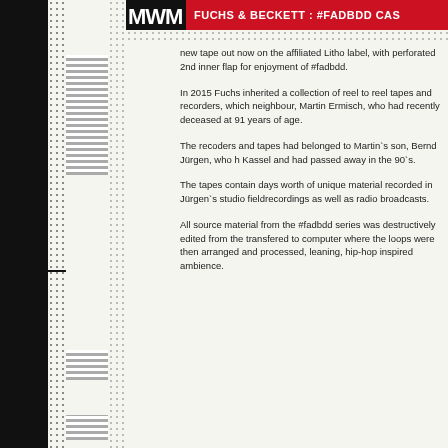FUCHS & BECKETT : #FADBDD CAS...
new tape out now on the affiliated Litho label, with perforated 2nd inner flap for enjoyment of #fadbdd.
In 2015 Fuchs inherited a collection of reel to reel tapes and recorders, which neighbour, Martin Ermisch, who had recently deceased at 91 years of age.
The recoders and tapes had belonged to Martin`s son, Bernd Jürgen, who h Kassel and had passed away in the 90`s.
The tapes contain days worth of unique material recorded in Jürgen`s studio fieldrecordings as well as radio broadcasts.
All source material from the #fadbdd series was destructively edited from the transfered to computer where the loops were then arranged and processed, leaning, hip-hop inspired ambience.